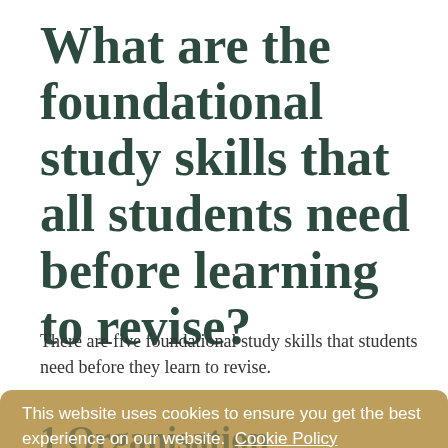What are the foundational study skills that all students need before learning to revise?
There are five foundational study skills that students need before they learn to revise.
1 Organisation
Many students are fundamentally let down in their studies by their organisational skills. Because they dont write their homework down, or check their planners regularly they